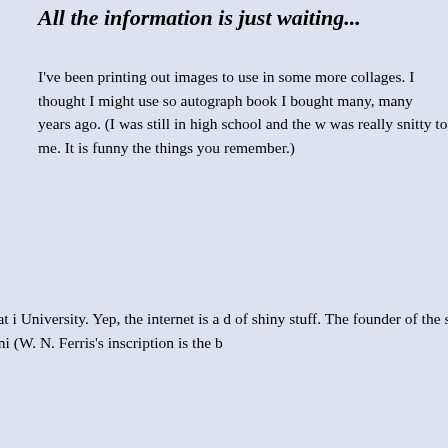All the information is just waiting...
I've been printing out images to use in some more collages. I thought I might use so autograph book I bought many, many years ago. (I was still in high school and the w was really snitty to me. It is funny the things you remember.)
(what a fabulous name!), was a stu Industrial School. And now I hav distracted by the history of what i University. Yep, the internet is a d of shiny stuff. The founder of the s Ferris (who went on to serve as g as a Senator!) even signed Miss M What a fun way to waste an eveni (W. N. Ferris's inscription is the b